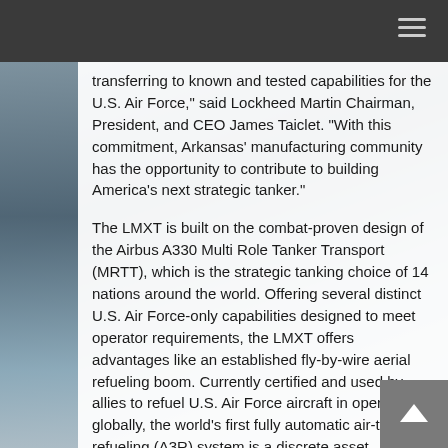transferring to known and tested capabilities for the U.S. Air Force," said Lockheed Martin Chairman, President, and CEO James Taiclet. "With this commitment, Arkansas' manufacturing community has the opportunity to contribute to building America's next strategic tanker."
The LMXT is built on the combat-proven design of the Airbus A330 Multi Role Tanker Transport (MRTT), which is the strategic tanking choice of 14 nations around the world. Offering several distinct U.S. Air Force-only capabilities designed to meet operator requirements, the LMXT offers advantages like an established fly-by-wire aerial refueling boom. Currently certified and used by allies to refuel U.S. Air Force aircraft in operations globally, the world's first fully automatic air-to-air refueling (A3R) system is a discrete asset.
"We are excited to continue expanding our U.S. footprint by partnering with the state of Arkansas to